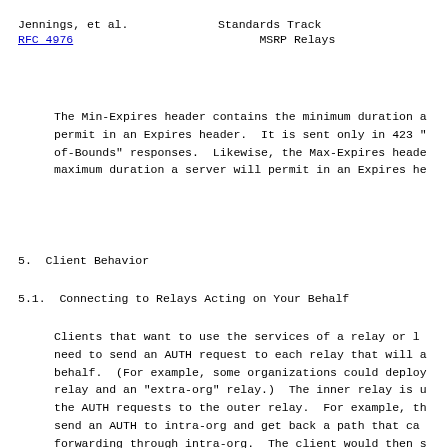Jennings, et al.    Standards Track
RFC 4976                              MSRP Relays
The Min-Expires header contains the minimum duration a permit in an Expires header.  It is sent only in 423 "of-Bounds" responses.  Likewise, the Max-Expires header maximum duration a server will permit in an Expires he
5.  Client Behavior
5.1.  Connecting to Relays Acting on Your Behalf
Clients that want to use the services of a relay or l need to send an AUTH request to each relay that will a behalf.  (For example, some organizations could deploy relay and an "extra-org" relay.)  The inner relay is  the AUTH requests to the outer relay.  For example, th send an AUTH to intra-org and get back a path that ca forwarding through intra-org.  The client would then  AUTH destined to extra-org but sent through intra-org relay forwards this to extra-org and extra-org returns can be used to forward messages from another destinati to intra-org and then on to this client.  Each relay  the client.  The client authenticates the first relay